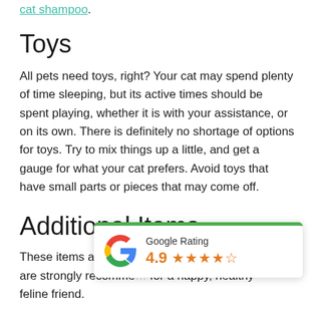cat shampoo.
Toys
All pets need toys, right? Your cat may spend plenty of time sleeping, but its active times should be spent playing, whether it is with your assistance, or on its own. There is definitely no shortage of options for toys. Try to mix things up a little, and get a gauge for what your cat prefers. Avoid toys that have small parts or pieces that may come off.
Additional Items
These items are not ne... are strongly recomme... for a happy, healthy feline friend.
[Figure (other): Google Rating widget showing 4.9 stars (4 full stars and 1 partial star), with Google G logo and green top border]